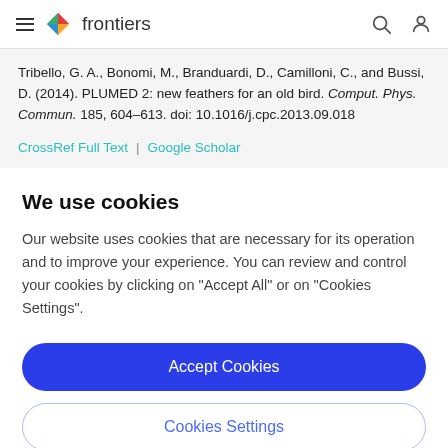frontiers
Tribello, G. A., Bonomi, M., Branduardi, D., Camilloni, C., and Bussi, D. (2014). PLUMED 2: new feathers for an old bird. Comput. Phys. Commun. 185, 604–613. doi: 10.1016/j.cpc.2013.09.018
CrossRef Full Text | Google Scholar
We use cookies
Our website uses cookies that are necessary for its operation and to improve your experience. You can review and control your cookies by clicking on "Accept All" or on "Cookies Settings".
Accept Cookies
Cookies Settings